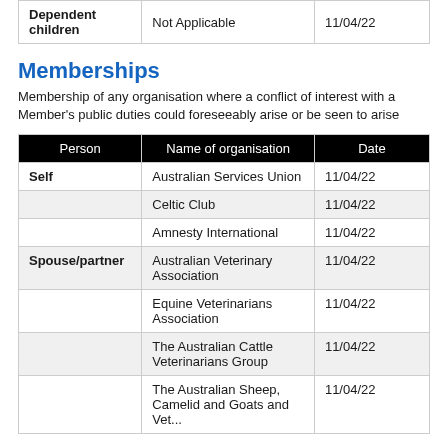| Person | Name of organisation | Date |
| --- | --- | --- |
| Dependent children | Not Applicable | 11/04/22 |
Memberships
Membership of any organisation where a conflict of interest with a Member's public duties could foreseeably arise or be seen to arise
| Person | Name of organisation | Date |
| --- | --- | --- |
| Self | Australian Services Union | 11/04/22 |
|  | Celtic Club | 11/04/22 |
|  | Amnesty International | 11/04/22 |
| Spouse/partner | Australian Veterinary Association | 11/04/22 |
|  | Equine Veterinarians Association | 11/04/22 |
|  | The Australian Cattle Veterinarians Group | 11/04/22 |
|  | The Australian Sheep, Camelid and Goats and Vet... | 11/04/22 |